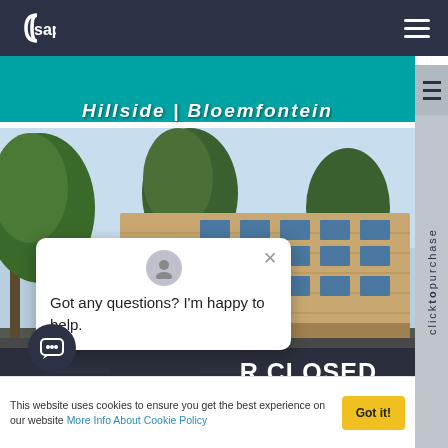sapx
Hillside | Bloemfontein
[Figure (photo): Building exterior photo showing modern office or educational building surrounded by trees, with brick facade and large windows, clear sky background.]
R CLOSED
Vorna Valley | Midrand
Got any questions? I'm happy to help.
This website uses cookies to ensure you get the best experience on our website More Info About Cookie Policy